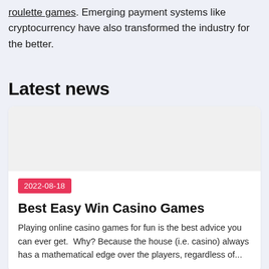roulette games. Emerging payment systems like cryptocurrency have also transformed the industry for the better.
Latest news
2022-08-18
Best Easy Win Casino Games
Playing online casino games for fun is the best advice you can ever get.  Why? Because the house (i.e. casino) always has a mathematical edge over the players, regardless of...